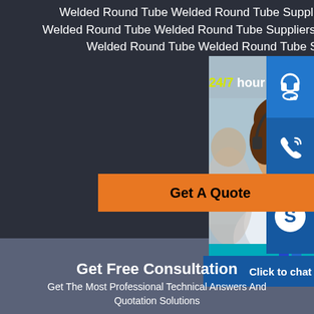Welded Round Tube Welded Round Tube Suppliers And Properties, Welded Round Tube Welded Round Tube Suppliers And In China, What Is Welded Round Tube Welded Round Tube Suppliers And ,
24/7 hour
[Figure (photo): Customer service representative smiling with headset, with colleague in background]
[Figure (illustration): Headset/support icon in blue square]
[Figure (illustration): Phone icon in blue square]
[Figure (illustration): Skype icon in blue square]
Get A Quote
Click to chat
Get Free Consultation
Get The Most Professional Technical Answers And Quotation Solutions